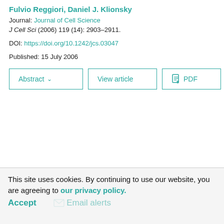Fulvio Reggiori, Daniel J. Klionsky
Journal: Journal of Cell Science
J Cell Sci (2006) 119 (14): 2903–2911.
DOI: https://doi.org/10.1242/jcs.03047
Published: 15 July 2006
This site uses cookies. By continuing to use our website, you are agreeing to our privacy policy. Accept  Email alerts